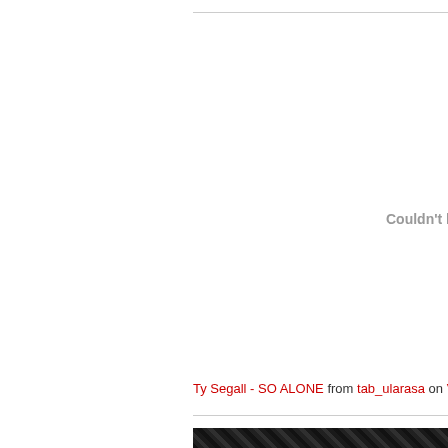[Figure (screenshot): Embedded video plugin area showing 'Couldn't load plugin' error message]
Ty Segall - SO ALONE from tab_ularasa on Vime
[Figure (photo): Black and white photo strip at bottom of page]